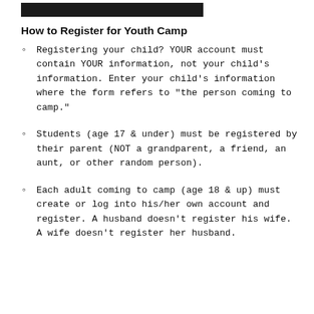[Figure (other): Black horizontal bar at top of page]
How to Register for Youth Camp
Registering your child? YOUR account must contain YOUR information, not your child’s information. Enter your child’s information where the form refers to “the person coming to camp.”
Students (age 17 & under) must be registered by their parent (NOT a grandparent, a friend, an aunt, or other random person).
Each adult coming to camp (age 18 & up) must create or log into his/her own account and register. A husband doesn’t register his wife. A wife doesn’t register her husband.